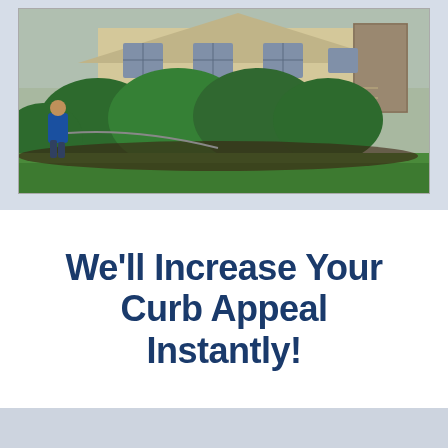[Figure (photo): A person in a blue jacket working in a lush green front yard with well-trimmed bushes and a house in the background on a cloudy day.]
We'll Increase Your Curb Appeal Instantly!
[Figure (photo): Two side-by-side photos of house windows and siding — one showing a dark-roofed house, the other showing beige siding with shuttered windows.]